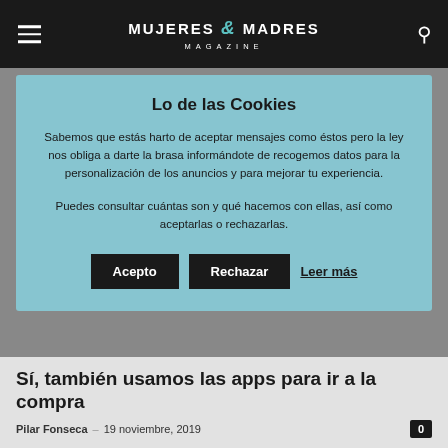MUJERES & MADRES MAGAZINE
Lo de las Cookies
Sabemos que estás harto de aceptar mensajes como éstos pero la ley nos obliga a darte la brasa informándote de recogemos datos para la personalización de los anuncios y para mejorar tu experiencia.
Puedes consultar cuántas son y qué hacemos con ellas, así como aceptarlas o rechazarlas.
Acepto   Rechazar   Leer más
Sí, también usamos las apps para ir a la compra
Pilar Fonseca  –  19 noviembre, 2019